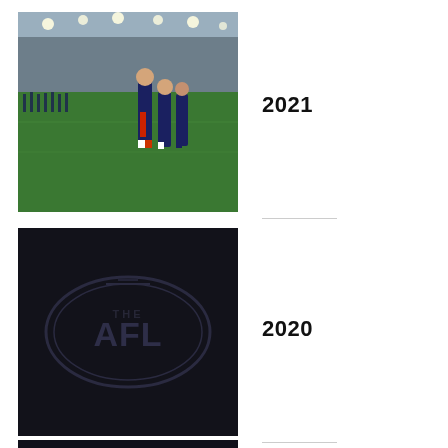[Figure (photo): AFL players walking on green oval field inside a stadium with lights and stands visible in background]
2021
[Figure (logo): AFL logo on dark/black background]
2020
[Figure (photo): Partially visible dark image at bottom, cropped]